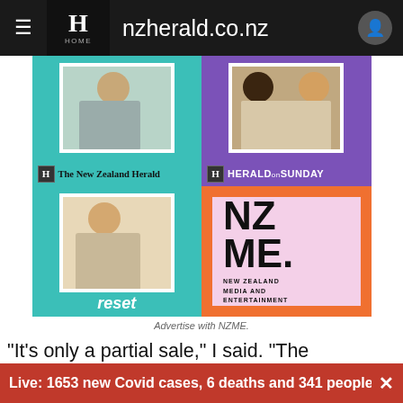nzherald.co.nz
[Figure (illustration): NZME advertisement showing four quadrants: The New Zealand Herald (teal background, woman on phone), Herald on Sunday (purple background, two people reading), reset (teal background, woman sitting), and NZME New Zealand Media and Entertainment logo (orange background with pink card)]
Advertise with NZME.
"It's only a partial sale," I said. "The Government maintains the controlling share." That was news to him - as it was to a number of other callers.
Live: 1653 new Covid cases, 6 deaths and 341 people in ho